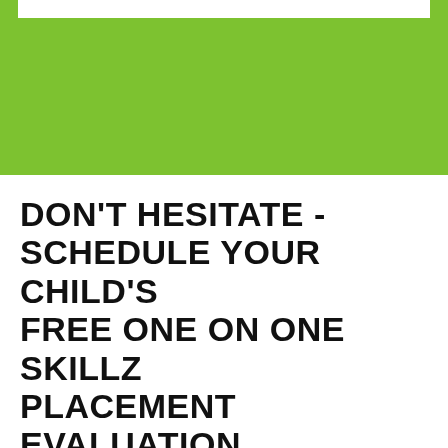[Figure (other): Green banner at the top of the page with a white horizontal bar at the very top edge]
DON'T HESITATE - SCHEDULE YOUR CHILD'S FREE ONE ON ONE SKILLZ PLACEMENT EVALUATION
SCHEDULE NOW